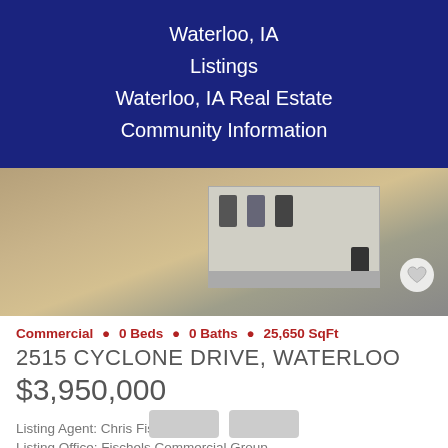Waterloo, IA Listings
Waterloo, IA Real Estate
Community Information
[Figure (photo): Aerial view of a commercial building with parking lot and cars visible from above, brown landscape]
Commercial • 0 Beds • 0 Baths • 25,650 SqFt
2515 CYCLONE DRIVE, WATERLOO
$3,950,000
Listing Agent: Chris Fischels
Listing Office: Fischels Commercial Group